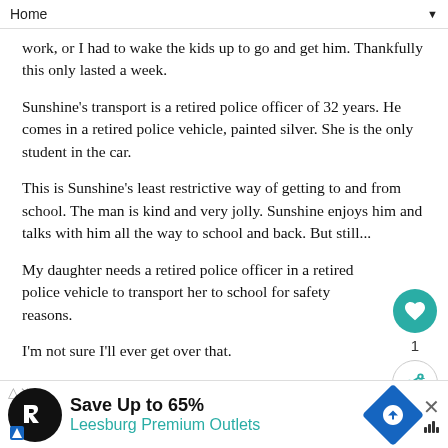Home
work, or I had to wake the kids up to go and get him.  Thankfully this only lasted a week.
Sunshine's transport is a retired police officer of 32 years. He comes in a retired police vehicle, painted silver.  She is the only student in the car.
This is Sunshine's least restrictive way of getting to and from school.  The man is kind and very jolly.  Sunshine enjoys him and talks with him all the way to school and back.  But still...
My daughter needs a retired police officer in a retired police vehicle to transport her to school for safety reasons.
I'm not sure I'll ever get over that.
Changes to Routines
We used to spend mornings outside playing for hours, then came lunch...afternoons...before...
[Figure (other): Advertisement banner: Save Up to 65% at Leesburg Premium Outlets, with Rakuten logo, navigation icon, and close button]